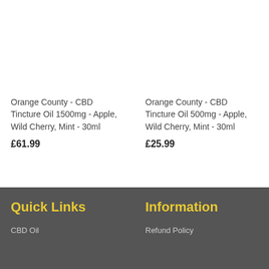Orange County - CBD Tincture Oil 1500mg - Apple, Wild Cherry, Mint - 30ml
£61.99
Orange County - CBD Tincture Oil 500mg - Apple, Wild Cherry, Mint - 30ml
£25.99
Quick Links
CBD Oil
Information
Refund Policy